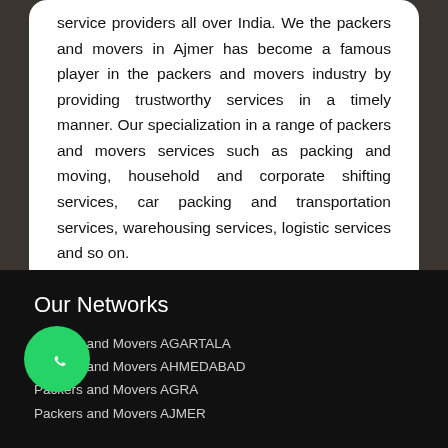service providers all over India. We the packers and movers in Ajmer has become a famous player in the packers and movers industry by providing trustworthy services in a timely manner. Our specialization in a range of packers and movers services such as packing and moving, household and corporate shifting services, car packing and transportation services, warehousing services, logistic services and so on.
Our Networks
Packers and Movers AGARTALA
Packers and Movers AHMEDABAD
Packers and Movers AGRA
Packers and Movers AJMER